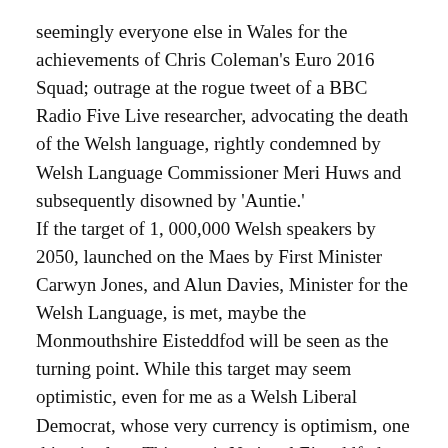seemingly everyone else in Wales for the achievements of Chris Coleman's Euro 2016 Squad; outrage at the rogue tweet of a BBC Radio Five Live researcher, advocating the death of the Welsh language, rightly condemned by Welsh Language Commissioner Meri Huws and subsequently disowned by 'Auntie.'
If the target of 1, 000,000 Welsh speakers by 2050, launched on the Maes by First Minister Carwyn Jones, and Alun Davies, Minister for the Welsh Language, is met, maybe the Monmouthshire Eisteddfod will be seen as the turning point. While this target may seem optimistic, even for me as a Welsh Liberal Democrat, whose very currency is optimism, one thing is clear. This year's National Eisteddfod, with attendance figures in excess of 140, 000, almost doubling that of the population of the rural host county, was an unqualified success. Indeed, the attendance on the final Saturday was the highest for over a decade.